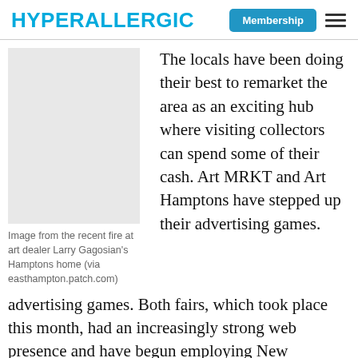HYPERALLERGIC | Membership
Image from the recent fire at art dealer Larry Gagosian's Hamptons home (via easthampton.patch.com)
The locals have been doing their best to remarket the area as an exciting hub where visiting collectors can spend some of their cash. Art MRKT and Art Hamptons have stepped up their advertising games. Both fairs, which took place this month, had an increasingly strong web presence and have begun employing New